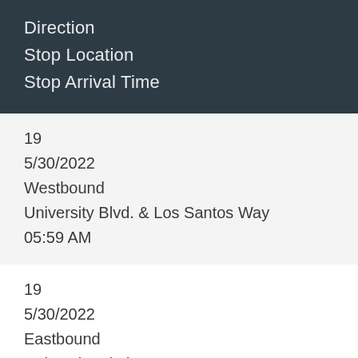| Direction | Stop Location | Stop Arrival Time |
| --- | --- | --- |
| 19 | 5/30/2022 | Westbound | University Blvd. & Los Santos Way | 05:59 AM |
| 19 | 5/30/2022 | Eastbound | University Blvd. & Los Santos Way | 05:24 AM |
| 19 | 5/30/2022 | Westbound |  |  |